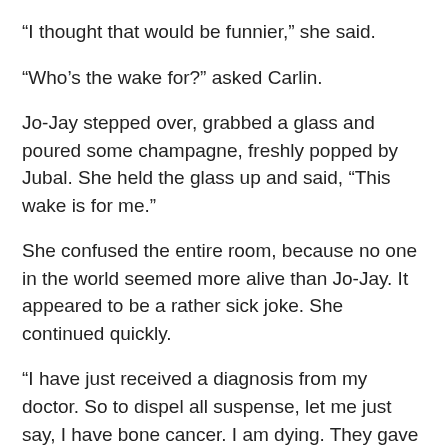“I thought that would be funnier,” she said.
“Who’s the wake for?” asked Carlin.
Jo-Jay stepped over, grabbed a glass and poured some champagne, freshly popped by Jubal. She held the glass up and said, “This wake is for me.”
She confused the entire room, because no one in the world seemed more alive than Jo-Jay. It appeared to be a rather sick joke. She continued quickly.
“I have just received a diagnosis from my doctor. So to dispel all suspense, let me just say, I have bone cancer. I am dying. They gave me six months to live if I chose to go through agonizing chemotherapy, and six weeks if I choose the short way to get home. I decided that I don’t